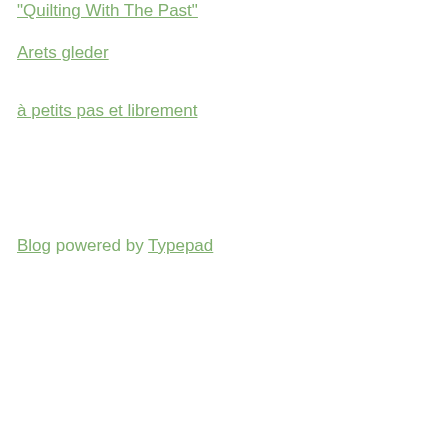"Quilting With The Past"
Arets gleder
à petits pas et librement
Blog powered by Typepad